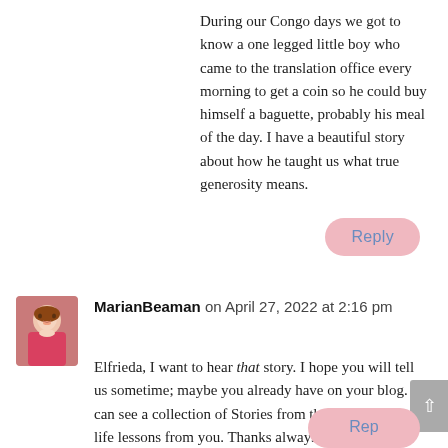During our Congo days we got to know a one legged little boy who came to the translation office every morning to get a coin so he could buy himself a baguette, probably his meal of the day. I have a beautiful story about how he taught us what true generosity means.
Reply
MarianBeaman on April 27, 2022 at 2:16 pm
Elfrieda, I want to hear that story. I hope you will tell us sometime; maybe you already have on your blog. I can see a collection of Stories from the Congo with true life lessons from you. Thanks always for showing up here! 😀